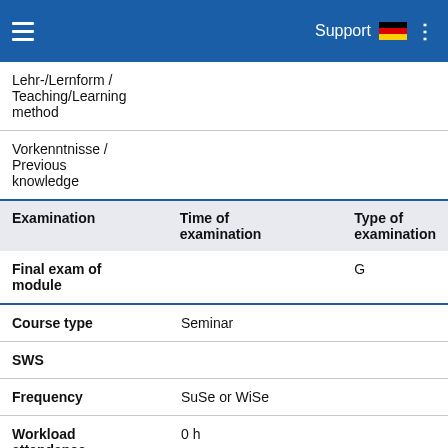Support
| Lehr-/Lernform / Teaching/Learning method |  |
| Vorkenntnisse / Previous knowledge |  |
| Examination | Time of examination | Type of examination |
| --- | --- | --- |
| Final exam of module |  | G |
| Course type | Seminar |
| SWS |  |
| Frequency | SuSe or WiSe |
| Workload attendance | 0 h |